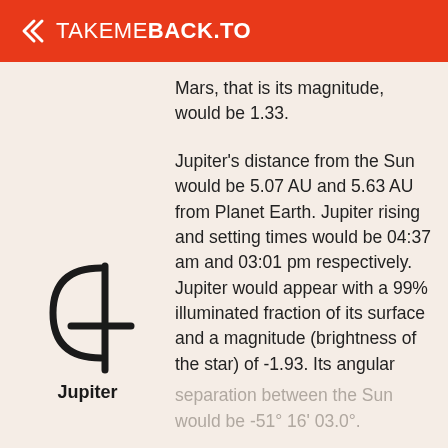TAKEMEBACK.TO
Mars, that is its magnitude, would be 1.33.
[Figure (illustration): Jupiter astronomical symbol (a stylized 2-like glyph with a cross) with the label 'Jupiter' below it]
Jupiter's distance from the Sun would be 5.07 AU and 5.63 AU from Planet Earth. Jupiter rising and setting times would be 04:37 am and 03:01 pm respectively. Jupiter would appear with a 99% illuminated fraction of its surface and a magnitude (brightness of the star) of -1.93. Its angular
separation between the Sun would be -51° 16' 03.0°.